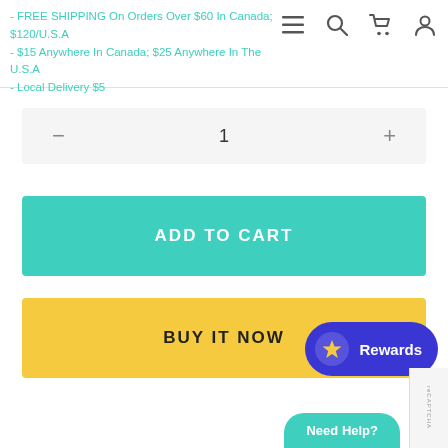- FREE SHIPPING On Orders Over $60 In Canada; $120/U.S.A
- $15 Anywhere In Canada; $25 Anywhere In The U.S.A
- Local Delivery $5
1
ADD TO CART
BUY IT NOW
Rewards
Need Help?